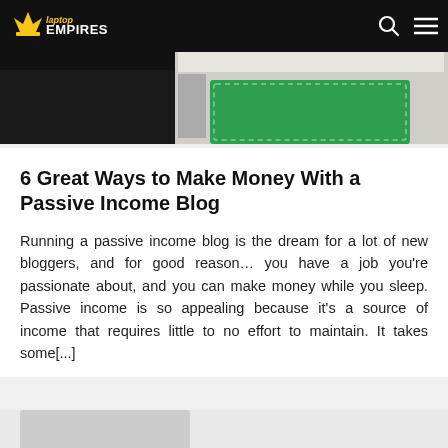Laptop Empires
[Figure (screenshot): Hero image showing a passive income blog screenshot with dark background on left and green graphic/illustration on right]
6 Great Ways to Make Money With a Passive Income Blog
Running a passive income blog is the dream for a lot of new bloggers, and for good reason… you have a job you're passionate about, and you can make money while you sleep. Passive income is so appealing because it's a source of income that requires little to no effort to maintain. It takes some[...]
[Figure (screenshot): Bottom thumbnail strip showing partial article preview]